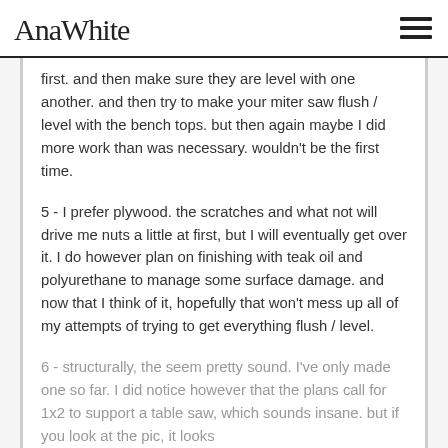AnaWhite
first. and then make sure they are level with one another. and then try to make your miter saw flush / level with the bench tops. but then again maybe I did more work than was necessary. wouldn't be the first time.
5 - I prefer plywood. the scratches and what not will drive me nuts a little at first, but I will eventually get over it. I do however plan on finishing with teak oil and polyurethane to manage some surface damage. and now that I think of it, hopefully that won't mess up all of my attempts of trying to get everything flush / level.
6 - structurally, the seem pretty sound. I've only made one so far. I did notice however that the plans call for 1x2 to support a table saw, which sounds insane. but if you look at the pic, it looks